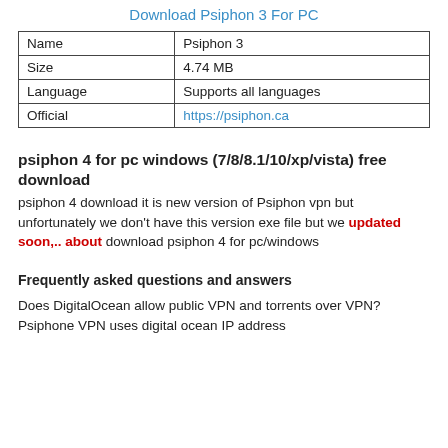Download Psiphon 3 For PC
| Name | Psiphon 3 |
| --- | --- |
| Size | 4.74 MB |
| Language | Supports all languages |
| Official | https://psiphon.ca |
psiphon 4 for pc windows (7/8/8.1/10/xp/vista) free download
psiphon 4 download it is new version of Psiphon vpn but unfortunately we don't have this version exe file but we updated soon,.. about download psiphon 4 for pc/windows
Frequently asked questions and answers
Does DigitalOcean allow public VPN and torrents over VPN? Psiphone VPN uses digital ocean IP address